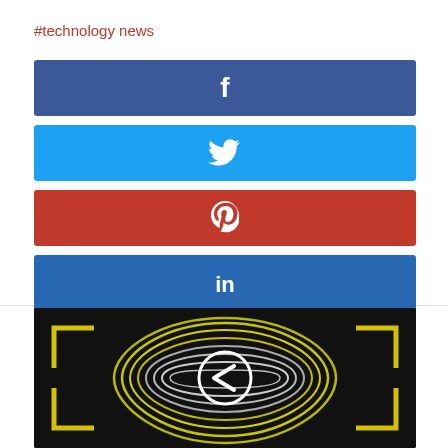#technology news
[Figure (infographic): Facebook share button - dark blue rectangle with white 'f' icon centered]
[Figure (infographic): Twitter share button - light blue rectangle with white bird icon centered]
[Figure (infographic): Pinterest share button - red rectangle with white 'P' icon centered]
[Figure (infographic): LinkedIn share button - medium blue rectangle with white 'in' icon centered]
[Figure (illustration): Dark background image showing a fingerprint scan with yellow corner brackets, a white circle with left arrow in the center, yellow and white concentric fingerprint lines]